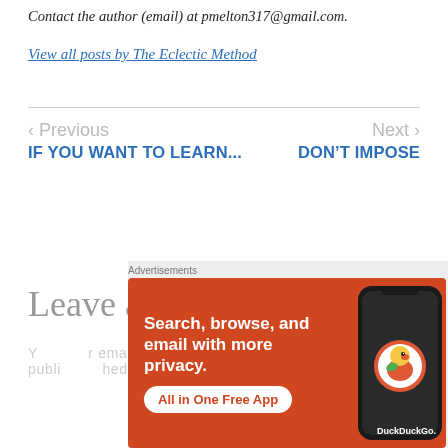Contact the author (email) at pmelton317@gmail.com.
View all posts by The Eclectic Method
< Previous
IF YOU WANT TO LEARN...
Next >
DON'T IMPOSE
Leave a Reply
Your email address will not be published.
[Figure (screenshot): DuckDuckGo advertisement banner: orange background with text 'Search, browse, and email with more privacy. All in One Free App' and DuckDuckGo logo with phone image.]